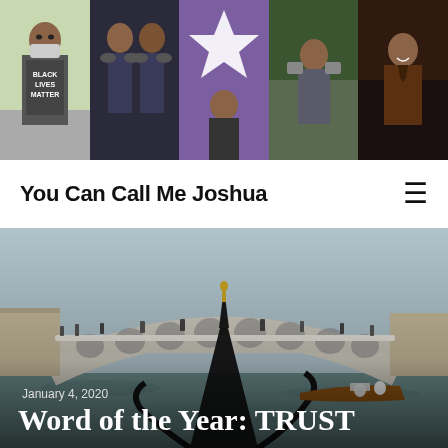[Figure (photo): A horizontal strip of five profile photos of a young man in various settings: wearing a Black Lives Matter shirt and mask, dressed in costume with another person, in front of a purple background, outdoors with camera equipment, and indoors in a dark jacket.]
You Can Call Me Joshua
[Figure (photo): A wide photograph taken from a gondola on a Venice canal, looking toward the Rialto Bridge, with crowds of tourists on the bridge and a motorboat in the water. The sky is overcast and the canal water is greenish.]
January 4, 2020
Word of the Year: TRUST